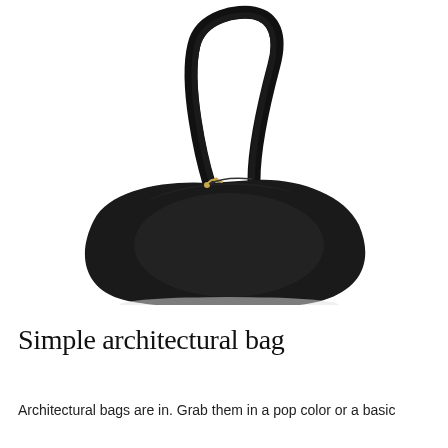[Figure (photo): A black leather shoulder hobo bag with a single strap, crescent-shaped body, smooth matte finish, and a small gold zipper pull at the top left opening. The bag is photographed on a white background.]
Simple architectural bag
Architectural bags are in. Grab them in a pop color or a basic